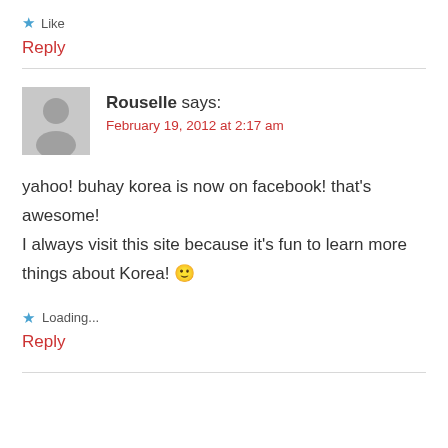★ Like
Reply
Rouselle says: February 19, 2012 at 2:17 am
yahoo! buhay korea is now on facebook! that's awesome!
I always visit this site because it's fun to learn more things about Korea! 🙂
★ Loading...
Reply